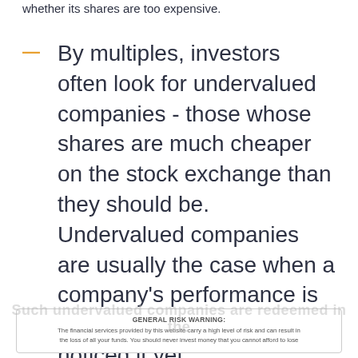whether its shares are too expensive.
By multiples, investors often look for undervalued companies - those whose shares are much cheaper on the stock exchange than they should be. Undervalued companies are usually the case when a company's performance is good, but no one has noticed it yet.
GENERAL RISK WARNING: The financial services provided by this website carry a high level of risk and can result in the loss of all your funds. You should never invest money that you cannot afford to lose